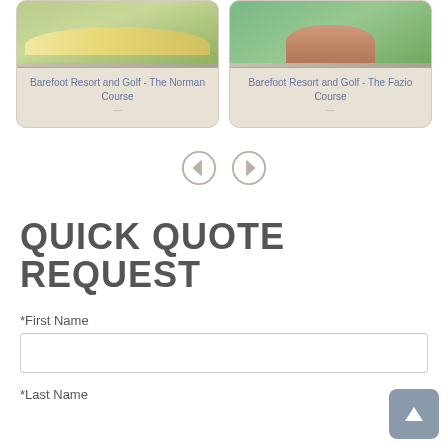[Figure (screenshot): Two golf course cards side by side: 'Barefoot Resort and Golf - The Norman Course' and 'Barefoot Resort and Golf - The Fazio Course', each showing a golf course photo and text label on a tan card background]
[Figure (infographic): Left and right navigation arrow buttons (circle with triangle icons) for carousel navigation]
QUICK QUOTE REQUEST
*First Name
*Last Name